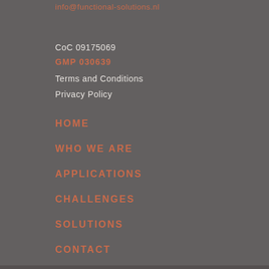info@functional-solutions.nl
CoC 09175069
GMP 030639
Terms and Conditions
Privacy Policy
HOME
WHO WE ARE
APPLICATIONS
CHALLENGES
SOLUTIONS
CONTACT